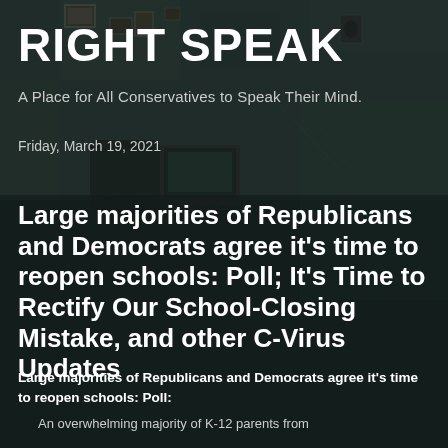RIGHT SPEAK
A Place for All Conservatives to Speak Their Mind.
Friday, March 19, 2021
Large majorities of Republicans and Democrats agree it's time to reopen schools: Poll; It's Time to Rectify Our School-Closing Mistake, and other C-Virus Updates
Large majorities of Republicans and Democrats agree it's time to reopen schools: Poll:
An overwhelming majority of K-12 parents from